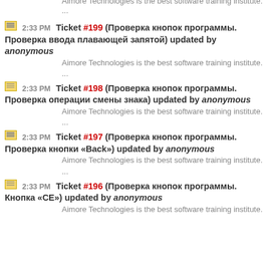Aimore Technologies is the best software training institute.
...
2:33 PM Ticket #199 (Проверка кнопок программы. Проверка ввода плавающей запятой) updated by anonymous
Aimore Technologies is the best software training institute.
...
2:33 PM Ticket #198 (Проверка кнопок программы. Проверка операции смены знака) updated by anonymous
Aimore Technologies is the best software training institute.
...
2:33 PM Ticket #197 (Проверка кнопок программы. Проверка кнопки «Back») updated by anonymous
Aimore Technologies is the best software training institute.
...
2:33 PM Ticket #196 (Проверка кнопок программы. Кнопка «CE») updated by anonymous
Aimore Technologies is the best software training institute.